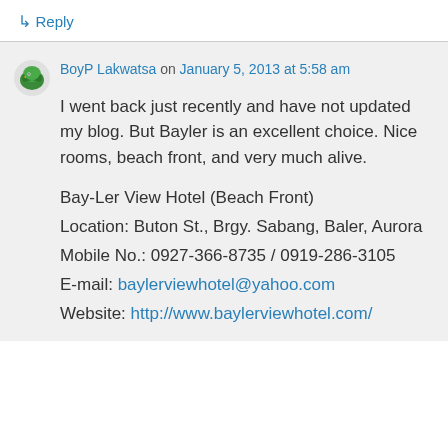↳ Reply
BoyP Lakwatsa on January 5, 2013 at 5:58 am
I went back just recently and have not updated my blog. But Bayler is an excellent choice. Nice rooms, beach front, and very much alive.
Bay-Ler View Hotel (Beach Front)
Location: Buton St., Brgy. Sabang, Baler, Aurora
Mobile No.: 0927-366-8735 / 0919-286-3105
E-mail: baylerviewhotel@yahoo.com
Website: http://www.baylerviewhotel.com/